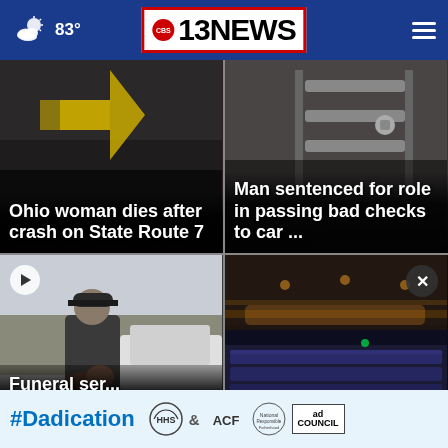83° CBS 13 NEWS
[Figure (photo): Dark road with yellow arrow marking, news card for Ohio woman dies after crash on State Route 7]
Ohio woman dies after crash on State Route 7
[Figure (photo): Industrial metal door or gate, news card for Man sentenced for role in passing bad checks to car...]
Man sentenced for role in passing bad checks to car ...
[Figure (photo): Police officer with K9 dog next to police vehicle, news card for Funeral services for Cha... Police...]
Funeral ser... Cha... Police...
[Figure (photo): Theater auditorium interior with blue seats and warm lighting, news card for ... a ...]
... $2 ...
[Figure (infographic): #Dadication ad banner with HHS ACF and Ad Council logos]